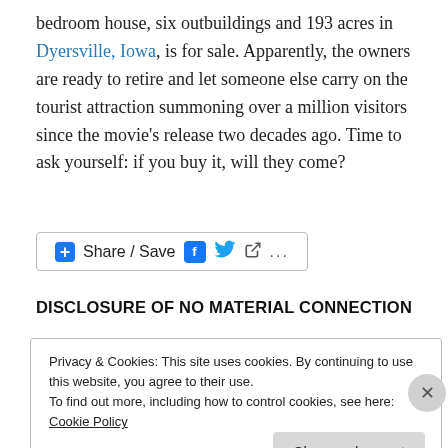bedroom house, six outbuildings and 193 acres in Dyersville, Iowa, is for sale. Apparently, the owners are ready to retire and let someone else carry on the tourist attraction summoning over a million visitors since the movie's release two decades ago. Time to ask yourself: if you buy it, will they come?
[Figure (other): Share / Save button with Facebook, Twitter, and share icons]
DISCLOSURE OF NO MATERIAL CONNECTION
Privacy & Cookies: This site uses cookies. By continuing to use this website, you agree to their use. To find out more, including how to control cookies, see here: Cookie Policy